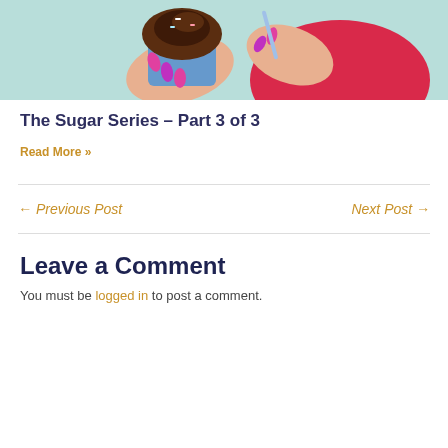[Figure (photo): A woman with pink/purple painted nails holding a chocolate cupcake in a blue wrapper, with a light teal background. She is wearing a red outfit.]
The Sugar Series – Part 3 of 3
Read More »
← Previous Post
Next Post →
Leave a Comment
You must be logged in to post a comment.